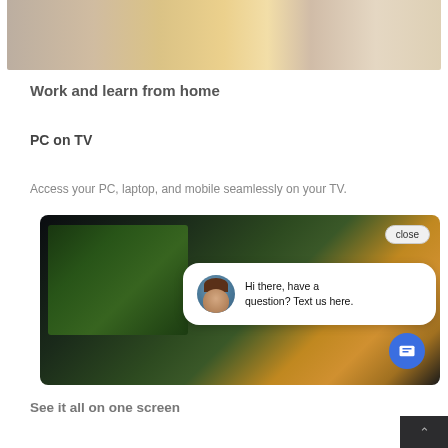[Figure (photo): Partial photo of a living room or workspace area, showing furniture, cropped at top of page]
Work and learn from home
PC on TV
Access your PC, laptop, and mobile seamlessly on your TV.
[Figure (screenshot): Screenshot of a TV showing a football/soccer match, with a chat widget overlay showing a close button and message: Hi there, have a question? Text us here. A blue chat icon button is also visible.]
See it all on one screen